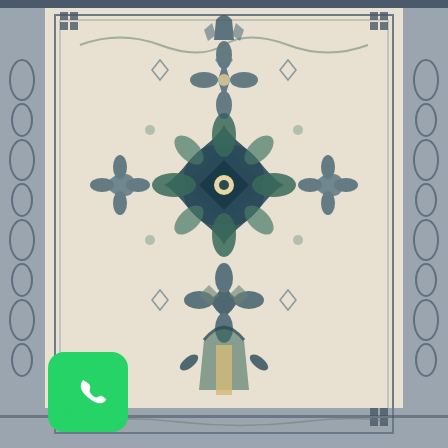[Figure (photo): A traditional Persian/Oriental area rug with intricate medallion design. The rug features a cream/ivory background with dark teal and navy blue floral and geometric patterns. A large central medallion dominates the center with symmetrical floral motifs and ornate border designs along all edges. A WhatsApp icon (green rounded square with white phone handset logo) is overlaid in the bottom-left corner of the image.]